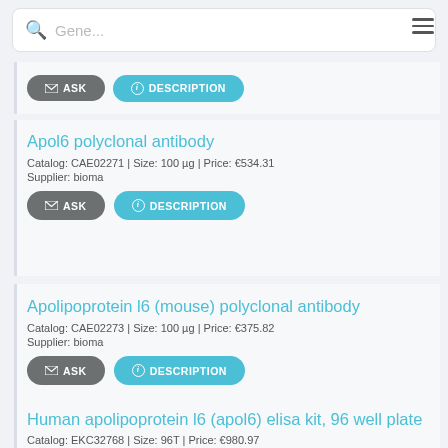Gene... (search bar)
Apol6 polyclonal antibody
Catalog: CAE02271 | Size: 100 µg | Price: €534.31
Supplier: bioma
Apolipoprotein l6 (mouse) polyclonal antibody
Catalog: CAE02273 | Size: 100 µg | Price: €375.82
Supplier: bioma
Human apolipoprotein l6 (apol6) elisa kit, 96 well plate
Catalog: EKC32768 | Size: 96T | Price: €980.97